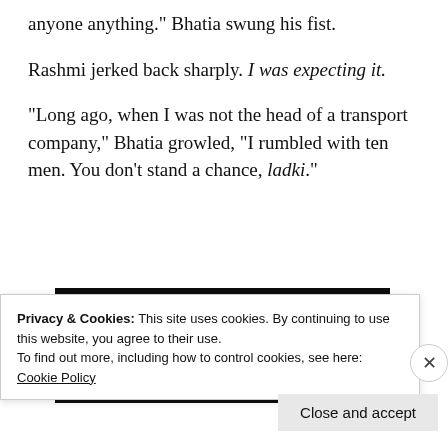anyone anything.” Bhatia swung his fist.
Rashmi jerked back sharply. I was expecting it.
“Long ago, when I was not the head of a transport company,” Bhatia growled, “I rumbled with ten men. You don’t stand a chance, ladki.”
[Figure (screenshot): Dark advertisement banner with text 'more work.' and a 'Get started for free' button.]
Privacy & Cookies: This site uses cookies. By continuing to use this website, you agree to their use.
To find out more, including how to control cookies, see here: Cookie Policy
Close and accept